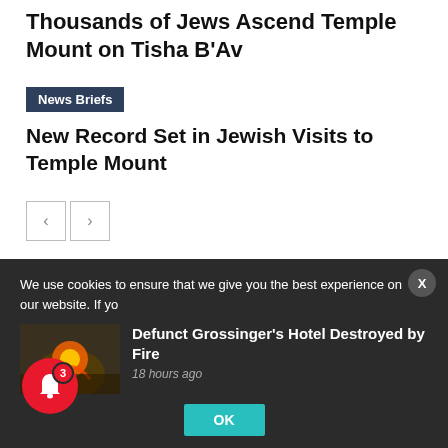Thousands of Jews Ascend Temple Mount on Tisha B'Av
News Briefs
New Record Set in Jewish Visits to Temple Mount
Facebook
0 Comments
We use cookies to ensure that we give you the best experience on our website. If yo
Defunct Grossinger's Hotel Destroyed by Fire
18 hours ago